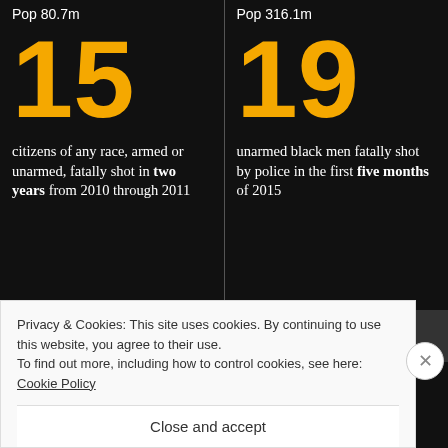Pop 80.7m
15
citizens of any race, armed or unarmed, fatally shot in two years from 2010 through 2011
Pop 316.1m
19
unarmed black men fatally shot by police in the first five months of 2015
Find out more at theguardian.com/thecounted
Privacy & Cookies: This site uses cookies. By continuing to use this website, you agree to their use.
To find out more, including how to control cookies, see here: Cookie Policy
Close and accept